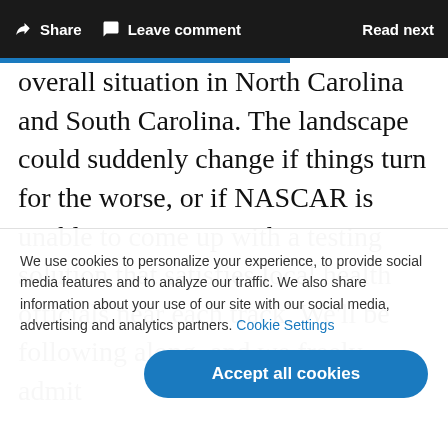Share  Leave comment  Read next
overall situation in North Carolina and South Carolina. The landscape could suddenly change if things turn for the worse, or if NASCAR is unable to come up with a testing solution that satisfies local health officials near each track. We'll be following along, and we freely admit
We use cookies to personalize your experience, to provide social media features and to analyze our traffic. We also share information about your use of our site with our social media, advertising and analytics partners. Cookie Settings
Accept all cookies